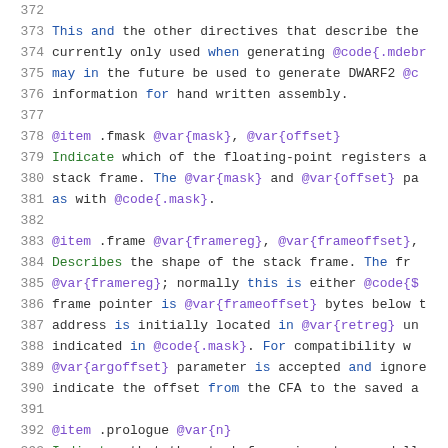372 (empty line)
373  This and the other directives that describe the
374  currently only used when generating @code{.mdebr
375  may in the future be used to generate DWARF2 @c
376  information for hand written assembly.
377 (empty line)
378  @item .fmask @var{mask}, @var{offset}
379  Indicate which of the floating-point registers a
380  stack frame.  The @var{mask} and @var{offset} pa
381  as with @code{.mask}.
382 (empty line)
383  @item .frame @var{framereg}, @var{frameoffset},
384  Describes the shape of the stack frame.  The fr
385  @var{framereg}; normally this is either @code{$
386  frame pointer is @var{frameoffset} bytes below t
387  address is initially located in @var{retreg} un
388  indicated in @code{.mask}.  For compatibility w
389  @var{argoffset} parameter is accepted and ignore
390  indicate the offset from the CFA to the saved a
391 (empty line)
392  @item .prologue @var{n}
393  Indicates that the stack frame is set up and ll